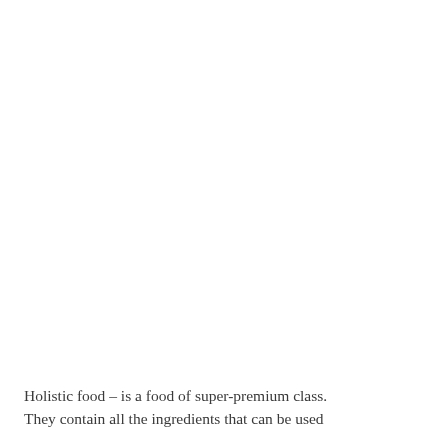Holistic food – is a food of super-premium class. They contain all the ingredients that can be used